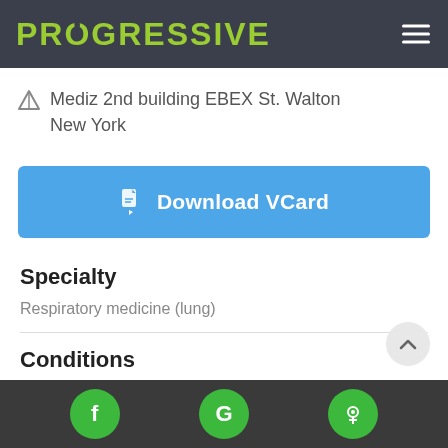PROGRESSIVE
Mediz 2nd building EBEX St. Walton New York
Download VCard
Specialty
Respiratory medicine (lung)
Conditions
f G yelp